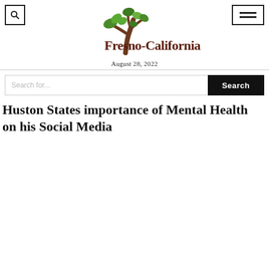Fresno-California
August 28, 2022
[Figure (other): Search bar with Search button]
Huston States importance of Mental Health on his Social Media